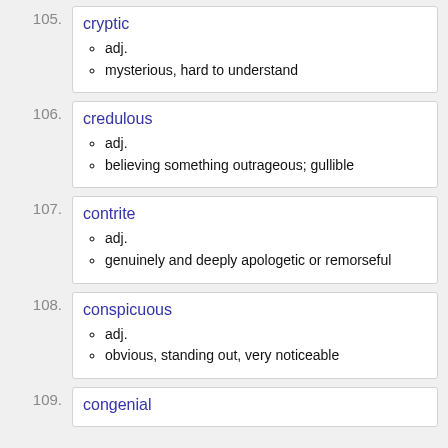105. cryptic
adj.
mysterious, hard to understand
106. credulous
adj.
believing something outrageous; gullible
107. contrite
adj.
genuinely and deeply apologetic or remorseful
108. conspicuous
adj.
obvious, standing out, very noticeable
109. congenial